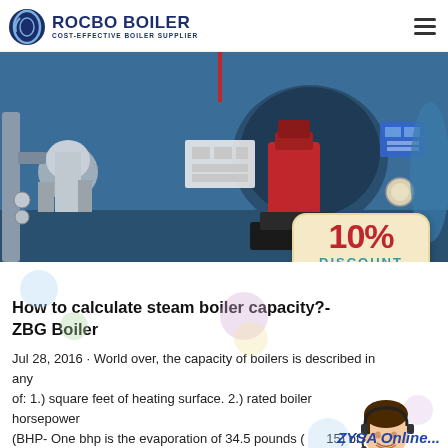ROCBO BOILER — COST-EFFECTIVE BOILER SUPPLIER
[Figure (photo): Industrial steam boiler room interior with large blue boiler vessel, red burner unit, and silver insulated pipes. A '10% DISCOUNT' badge is overlaid in the bottom-right corner.]
How to calculate steam boiler capacity?-ZBG Boiler
Jul 28, 2016 · World over, the capacity of boilers is described in any of: 1.) square feet of heating surface. 2.) rated boiler horsepower (BHP- One bhp is the evaporation of 34.5 pounds (15) of water per hour from a temperature of 212oF (=100oC) into dry…